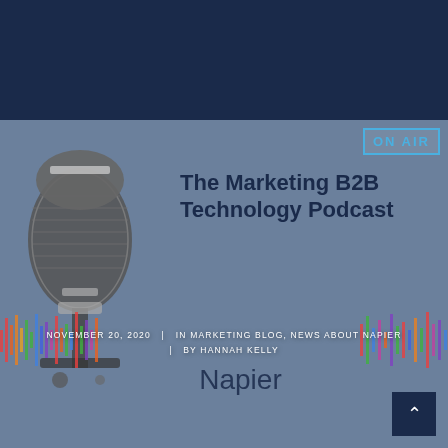[Figure (illustration): Marketing B2B Technology Podcast promotional image featuring a vintage microphone on a muted blue-grey background with colorful sound wave graphic, ON AIR badge in top right corner, and Napier logo at the bottom]
The Marketing B2B Technology Podcast
NOVEMBER 20, 2020  |  IN MARKETING BLOG, NEWS ABOUT NAPIER  |  BY HANNAH KELLY